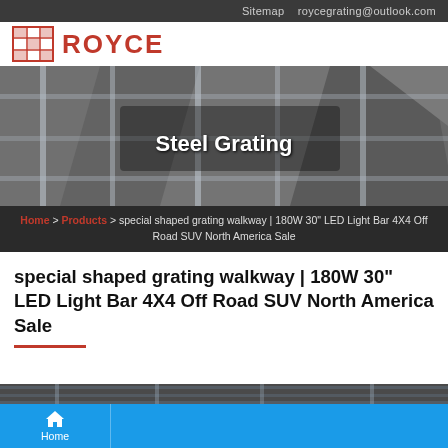Sitemap   roycegrating@outlook.com
[Figure (logo): Royce logo with red grid icon and red ROYCE text]
[Figure (photo): Close-up photo of steel grating with text overlay: Steel Grating]
Home > Products > special shaped grating walkway | 180W 30" LED Light Bar 4X4 Off Road SUV North America Sale
special shaped grating walkway | 180W 30" LED Light Bar 4X4 Off Road SUV North America Sale
[Figure (photo): Partial bottom strip showing another steel product image]
Home